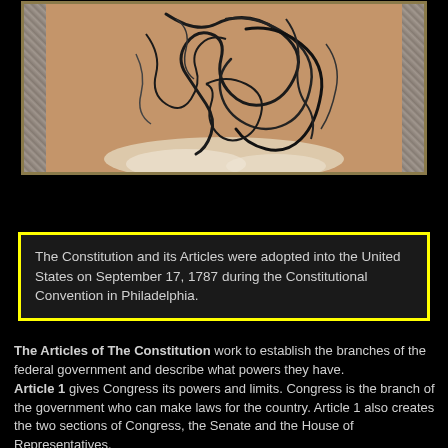[Figure (photo): Framed charcoal or pencil sketch on tan/brown paper, showing abstract swirling dark marks, possibly a figure or organic form. The frame has marble-like decorative side columns and a gold inner border.]
The Constitution and its Articles were adopted into the United States on September 17, 1787 during the Constitutional Convention in Philadelphia.
The Articles of The Constitution work to establish the branches of the federal government and describe what powers they have. Article 1 gives Congress its powers and limits. Congress is the branch of the government who can make laws for the country. Article 1 also creates the two sections of Congress, the Senate and the House of Representatives. Article 2 makes the executive branch of the government. The